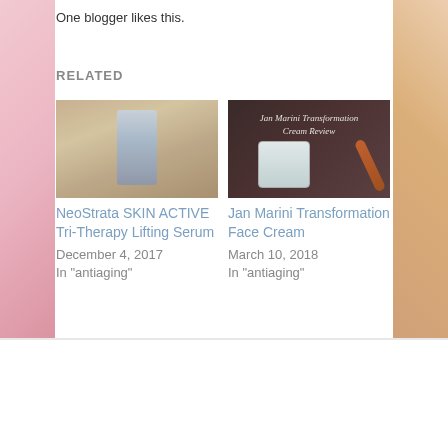One blogger likes this.
RELATED
[Figure (photo): Product photo of NeoStrata SKIN ACTIVE Tri-Therapy Lifting Serum bottle on sandy/stone background]
NeoStrata SKIN ACTIVE Tri-Therapy Lifting Serum
December 4, 2017
In "antiaging"
[Figure (photo): Photo of Jan Marini Transformation Face Cream jar with text overlay on dark brown background with brush]
Jan Marini Transformation Face Cream
March 10, 2018
In "antiaging"
GRAB YOUR FREEBIE!
SIGN UP TO RECEIVE THE LATEST POSTS, LIFESTYLE TIPS & TRICKS, PLUS SOME EXCLUSIVE GOODIES!
Email Address *